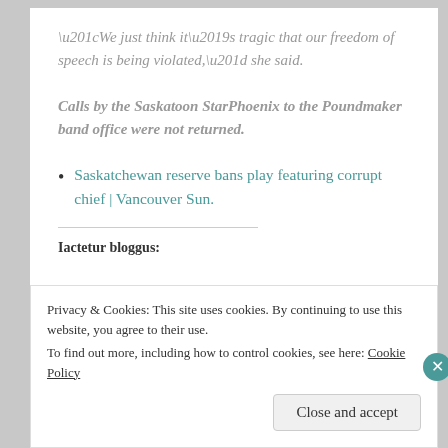“We just think it’s tragic that our freedom of speech is being violated,” she said.
Calls by the Saskatoon StarPhoenix to the Poundmaker band office were not returned.
Saskatchewan reserve bans play featuring corrupt chief | Vancouver Sun.
Iactetur bloggus:
Privacy & Cookies: This site uses cookies. By continuing to use this website, you agree to their use.
To find out more, including how to control cookies, see here: Cookie Policy
Close and accept